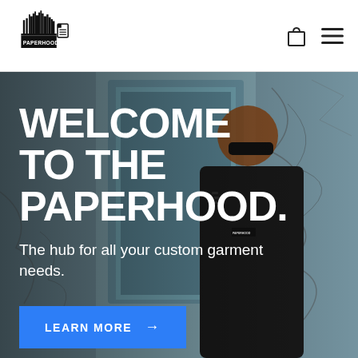PAPERHOOD logo, shopping bag icon, hamburger menu icon
[Figure (photo): Young man wearing black Paperhood jacket and sunglasses, standing in front of a graffiti-covered wall/doorway. Urban street fashion setting.]
WELCOME TO THE PAPERHOOD.
The hub for all your custom garment needs.
LEARN MORE →